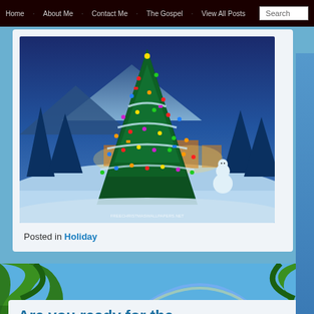Home | About Me | Contact Me | The Gospel | View All Posts | Search
[Figure (photo): Christmas scene with a large decorated Christmas tree covered in colorful lights and ornaments, snow-covered landscape with buildings and snowman in background, blue twilight atmosphere. Watermark: FREECHRISTMASWALLPAPERS.NET]
Posted in Holiday
[Figure (photo): Tropical outdoor scene with green palm/jungle foliage and blue sky with rainbow in background]
Are you ready for the future of the Internet? – Check
22/12/2013